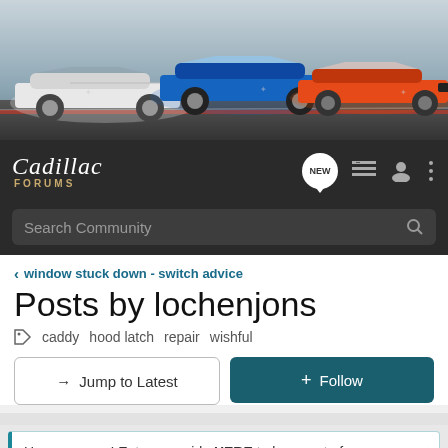[Figure (photo): Banner image showing three Cadillac cars (white, blue, orange) on a racetrack with grey sky background]
Cadillac FORUMS
Search Community
< window stuck down - switch advice
Posts by lochenjons
caddy  hood latch  repair  wishful
→ Jump to Latest
+ Follow
Hey everyone! Enter your ride HERE to be a part of August's Ride of the Month Challenge!